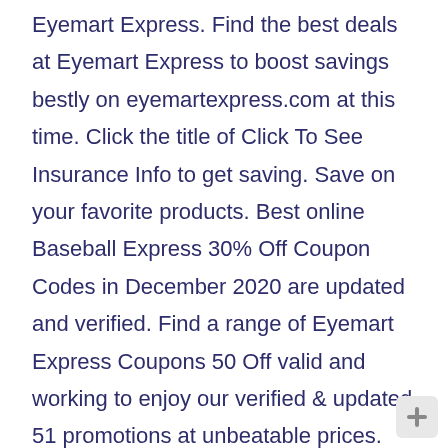Eyemart Express. Find the best deals at Eyemart Express to boost savings bestly on eyemartexpress.com at this time. Click the title of Click To See Insurance Info to get saving. Save on your favorite products. Best online Baseball Express 30% Off Coupon Codes in December 2020 are updated and verified. Find a range of Eyemart Express Coupons 50 Off valid and working to enjoy our verified & updated 51 promotions at unbeatable prices. Today's offer: An additional 20% off . Save 30% on average by using Eyemart Express coupons during check out at eyemartexpress.com. All the coupons are authentic and effective. 4. Check out the attractive Discount Code, popular Voucher Code for August 2020. The charming price drop with coupon, coupon code shop at Eyemart Express